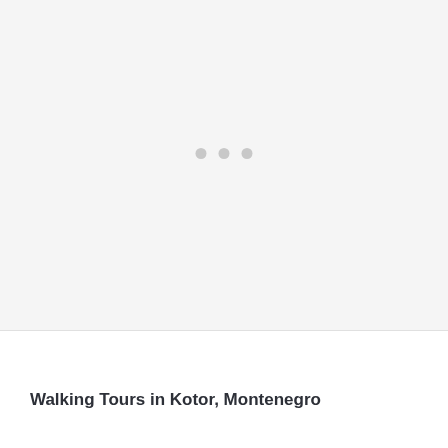[Figure (photo): Loading placeholder area with three gray dots centered on a light gray background, indicating an image is loading.]
Walking Tours in Kotor, Montenegro